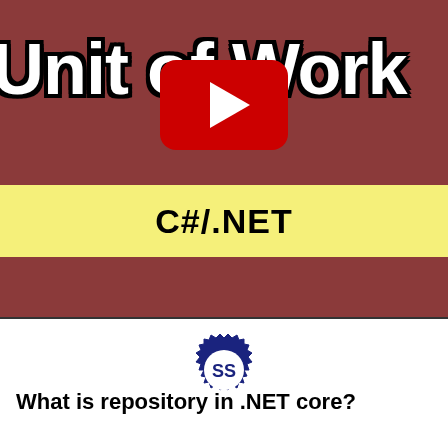[Figure (screenshot): YouTube video thumbnail showing 'Unit of Work' text in white with black outline on dark red background, with YouTube play button in center, yellow band with 'C#/.NET' text, and dark red bottom section. Below thumbnail is an SS gear logo icon.]
What is repository in .NET core?